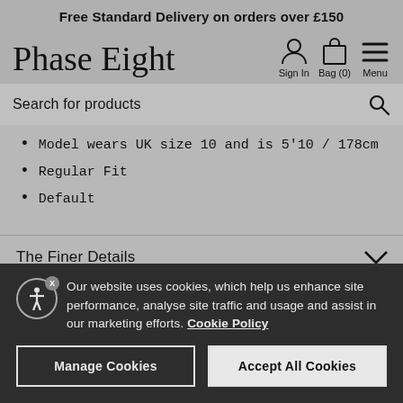Free Standard Delivery on orders over £150
[Figure (logo): Phase Eight cursive logo with navigation icons: Sign In, Bag (0), Menu]
Search for products
Model wears UK size 10 and is 5'10 / 178cm
Regular Fit
Default
The Finer Details
Our website uses cookies, which help us enhance site performance, analyse site traffic and usage and assist in our marketing efforts. Cookie Policy
Manage Cookies
Accept All Cookies